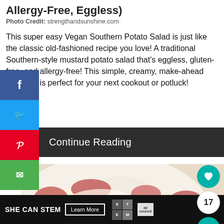Allergy-Free, Eggless)
Photo Credit: strengthandsunshine.com
This super easy Vegan Southern Potato Salad is just like the classic old-fashioned recipe you love! A traditional Southern-style mustard potato salad that's eggless, gluten-free, and allergy-free! This simple, creamy, make-ahead side dish is perfect for your next cookout or potluck!
Continue Reading
[Figure (photo): Close-up photo of vegan Southern potato salad with red potatoes and creamy dressing in a white bowl]
SHE CAN STEM   Learn More